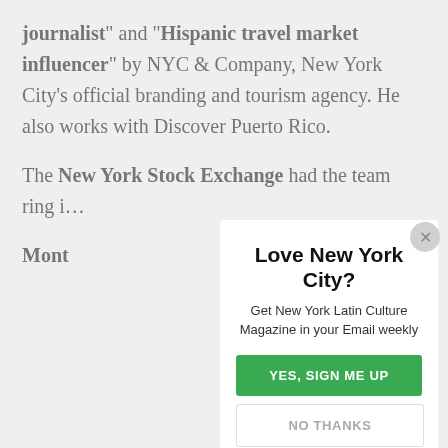journalist" and "Hispanic travel market influencer" by NYC & Company, New York City's official branding and tourism agency. He also works with Discover Puerto Rico.
The New York Stock Exchange had the team ring i… Mont…
[Figure (screenshot): Modal popup overlay on article page. Title: 'Love New York City?' Subtitle: 'Get New York Latin Culture Magazine in your Email weekly'. Green button: 'YES, SIGN ME UP'. White button: 'NO THANKS'. Close X button in top right.]